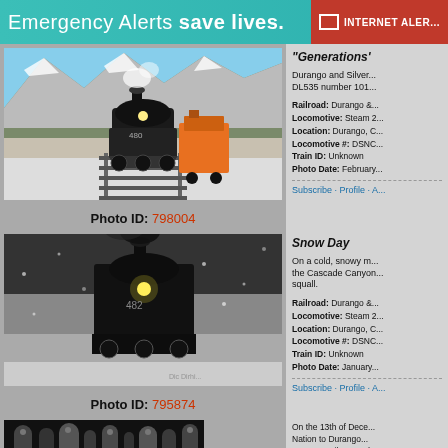Emergency Alerts save lives. INTERNET ALERT
[Figure (photo): Steam locomotive heading toward camera on snowy mountain track with orange diesel locomotive behind, snowy rocky mountain landscape, Photo ID 798004]
Photo ID: 798004
"Generations'
Durango and Silver... DL535 number 101...
Railroad: Durango &...
Locomotive: Steam 2...
Location: Durango, C...
Locomotive #: DSNC...
Train ID: Unknown
Photo Date: February...
Subscribe · Profile · A...
[Figure (photo): Steam locomotive in heavy snow with black smoke billowing, dark wintry scene, Photo ID 795874]
Photo ID: 795874
Snow Day
On a cold, snowy m... the Cascade Canyon... squall.
Railroad: Durango &...
Locomotive: Steam 2...
Location: Durango, C...
Locomotive #: DSNC...
Train ID: Unknown
Photo Date: January...
Subscribe · Profile · A...
[Figure (photo): Close-up black and white photo of locomotive mechanical parts and pipes]
On the 13th of Dece... Nation to Durango... Canyon Railway and...